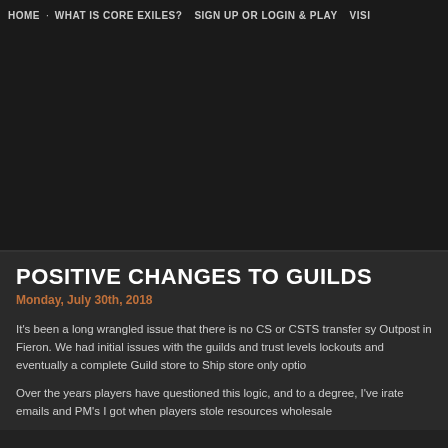HOME · WHAT IS CORE EXILES? · SIGN UP OR LOGIN & PLAY · VISI
[Figure (other): Black banner image area for website header]
POSITIVE CHANGES TO GUILDS
Monday, July 30th, 2018
It's been a long wrangled issue that there is no CS or CSTS transfer sy Outpost in Fieron. We had initial issues with the guilds and trust levels lockouts and eventually a complete Guild store to Ship store only optio
Over the years players have questioned this logic, and to a degree, I've irate emails and PM's I got when players stole resources wholesale